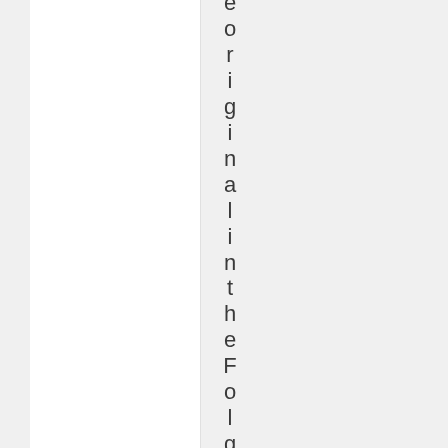original in the Folger Shakespeare